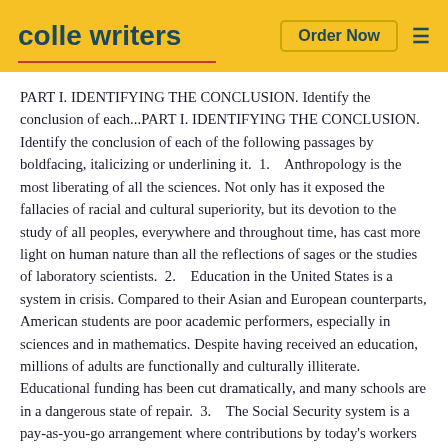colle writers | Order Now
PART I. IDENTIFYING THE CONCLUSION. Identify the conclusion of each...PART I. IDENTIFYING THE CONCLUSION. Identify the conclusion of each of the following passages by boldfacing, italicizing or underlining it.  1.    Anthropology is the most liberating of all the sciences. Not only has it exposed the fallacies of racial and cultural superiority, but its devotion to the study of all peoples, everywhere and throughout time, has cast more light on human nature than all the reflections of sages or the studies of laboratory scientists.  2.    Education in the United States is a system in crisis. Compared to their Asian and European counterparts, American students are poor academic performers, especially in sciences and in mathematics. Despite having received an education, millions of adults are functionally and culturally illiterate. Educational funding has been cut dramatically, and many schools are in a dangerous state of repair.  3.    The Social Security system is a pay-as-you-go arrangement where contributions by today's workers are paid